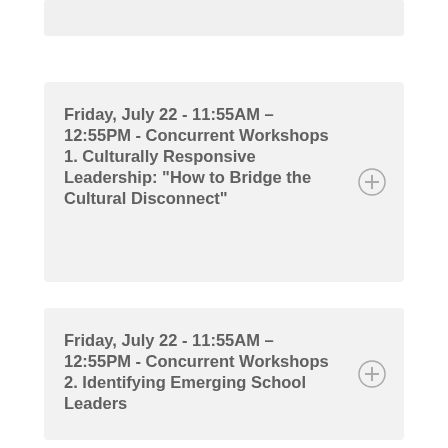Friday, July 22 - 11:55AM – 12:55PM - Concurrent Workshops 1. Culturally Responsive Leadership: “How to Bridge the Cultural Disconnect”
Friday, July 22 - 11:55AM – 12:55PM - Concurrent Workshops 2. Identifying Emerging School Leaders